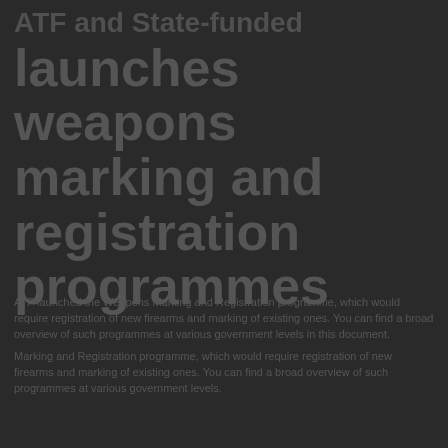ATF and State-Funded launches weapons marking and registration programmes
ATF launched the Weapons Marking and Registration programme, which would require registration of new firearms and marking of existing ones. You can find a broad overview of such programmes at various government levels in this document.